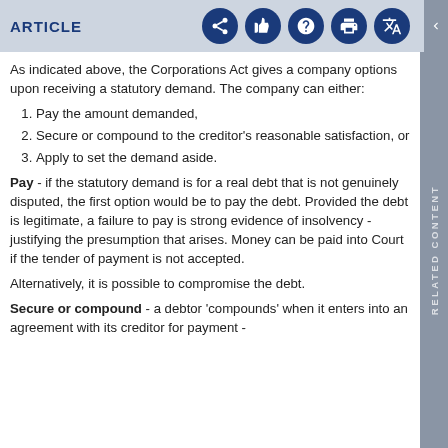ARTICLE
As indicated above, the Corporations Act gives a company options upon receiving a statutory demand. The company can either:
1. Pay the amount demanded,
2. Secure or compound to the creditor's reasonable satisfaction, or
3. Apply to set the demand aside.
Pay - if the statutory demand is for a real debt that is not genuinely disputed, the first option would be to pay the debt. Provided the debt is legitimate, a failure to pay is strong evidence of insolvency - justifying the presumption that arises. Money can be paid into Court if the tender of payment is not accepted.
Alternatively, it is possible to compromise the debt.
Secure or compound - a debtor 'compounds' when it enters into an agreement with its creditor for payment -